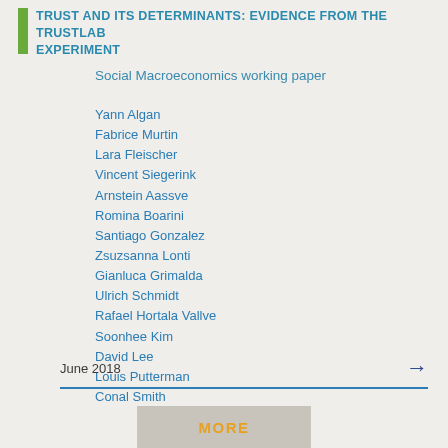TRUST AND ITS DETERMINANTS: EVIDENCE FROM THE TRUSTLAB EXPERIMENT
Social Macroeconomics working paper
Yann Algan
Fabrice Murtin
Lara Fleischer
Vincent Siegerink
Arnstein Aassve
Romina Boarini
Santiago Gonzalez
Zsuzsanna Lonti
Gianluca Grimalda
Ulrich Schmidt
Rafael Hortala Vallve
Soonhee Kim
David Lee
Louis Putterman
Conal Smith
June 2018
MORE